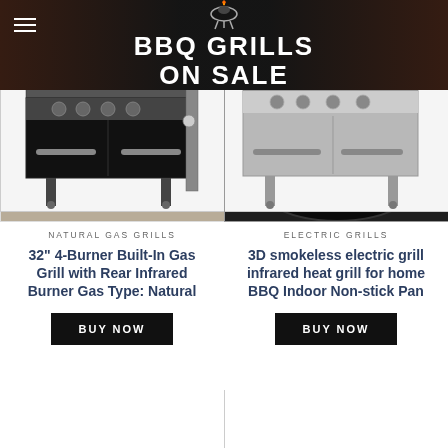BBQ GRILLS ON SALE
[Figure (photo): Built-in gas grill with knobs and stainless steel front panel]
[Figure (photo): 3D smokeless electric grill top view showing black non-stick surface]
NATURAL GAS GRILLS
32" 4-Burner Built-In Gas Grill with Rear Infrared Burner Gas Type: Natural
BUY NOW
ELECTRIC GRILLS
3D smokeless electric grill infrared heat grill for home BBQ Indoor Non-stick Pan
BUY NOW
[Figure (photo): Black 4-burner freestanding gas grill with thermometer on lid and side shelf]
[Figure (photo): Stainless steel 3-burner freestanding gas grill with thermometer and cabinet doors]